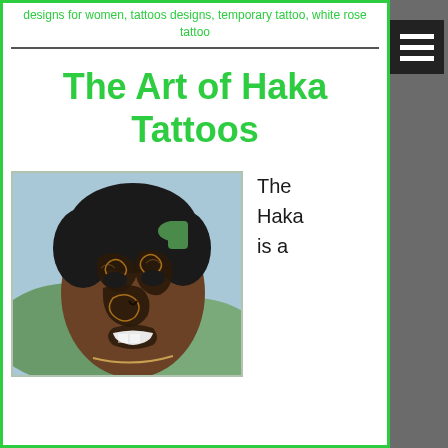designs for women, tattoos designs, temporary tattoo, white rose tattoo
The Art of Haka Tattoos
[Figure (photo): Person with traditional Maori facial tattoos (ta moko) covering entire face, with black hair tied up with green band]
The Haka is a